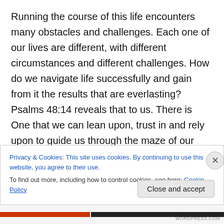Running the course of this life encounters many obstacles and challenges. Each one of our lives are different, with different circumstances and different challenges. How do we navigate life successfully and gain from it the results that are everlasting? Psalms 48:14 reveals that to us. There is One that we can lean upon, trust in and rely upon to guide us through the maze of our lives. Isn't it a peace and reassurance to know that our God holds our destiny and purpose in His hand. If we are willing to fully trust and obey Him, He will lead and guide us into it. God's Word lays the foundation and principles
Privacy & Cookies: This site uses cookies. By continuing to use this website, you agree to their use. To find out more, including how to control cookies, see here: Cookie Policy
Close and accept